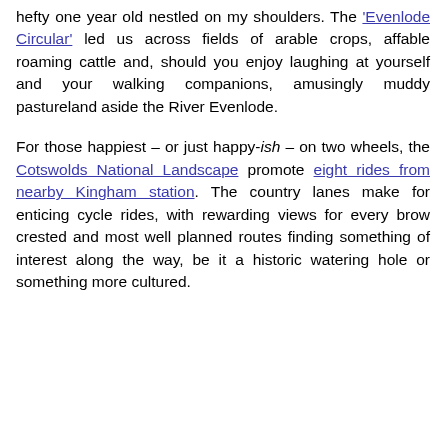hefty one year old nestled on my shoulders. The 'Evenlode Circular' led us across fields of arable crops, affable roaming cattle and, should you enjoy laughing at yourself and your walking companions, amusingly muddy pastureland aside the River Evenlode.
For those happiest – or just happy-ish – on two wheels, the Cotswolds National Landscape promote eight rides from nearby Kingham station. The country lanes make for enticing cycle rides, with rewarding views for every brow crested and most well planned routes finding something of interest along the way, be it a historic watering hole or something more cultured.